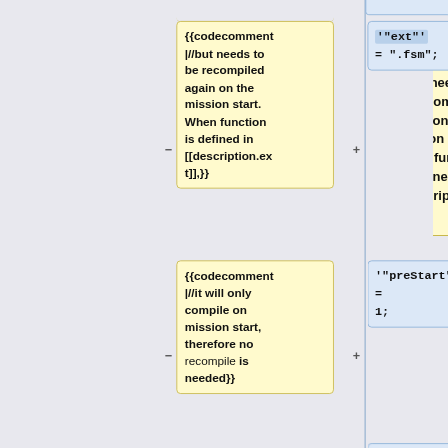[Figure (flowchart): A diff/comparison flowchart showing two rows. Each row has a yellow comment box on the left side (with wiki-style codecomment markup) connected by minus and plus markers to a blue code box on the right. Top row comment: '{{codecomment|//but needs to be recompiled again on the mission start. When function is defined in [[description.ext]],}}'. Top right code box: "'ext'" = ".fsm"; with a light blue highlight. Second row comment: '{{codecomment|//it will only compile on mission start, therefore no recompile is needed}}'. Second right code box: "'preStart'" = 1;. Partial third row at bottom with right code box showing: + "'recompile'" =]